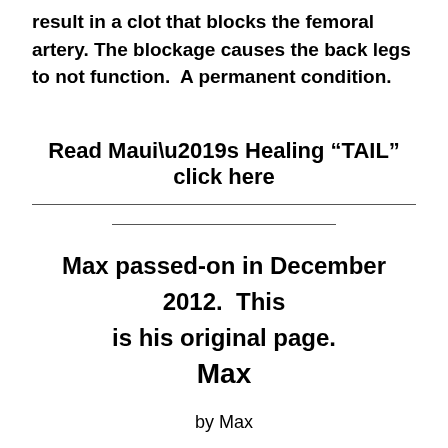result in a clot that blocks the femoral artery. The blockage causes the back legs to not function.  A permanent condition.
Read Maui’s Healing “TAIL” click here
Max passed-on in December 2012.  This is his original page.
Max
by Max